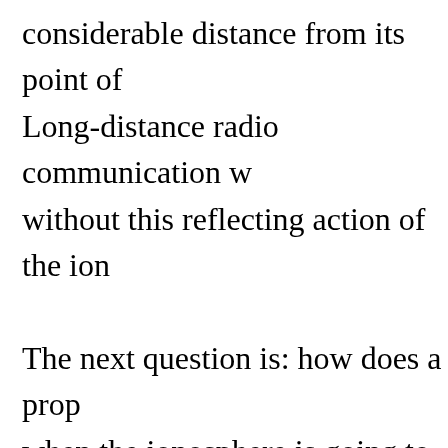considerable distance from its point of Long-distance radio communication w without this reflecting action of the ion The next question is: how does a prop when the ionosphere is going to reflec properly? Charting the Planets. Amazing as it m predicts the condition of the ionospher